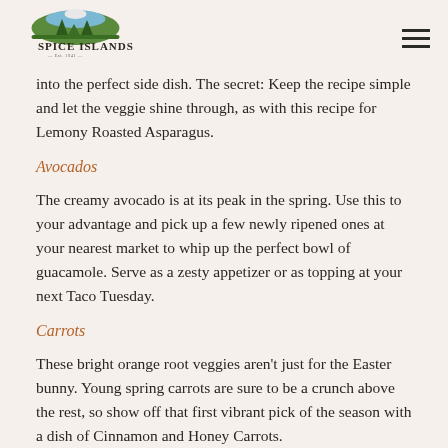Spice Islands — Est. 1941
into the perfect side dish. The secret: Keep the recipe simple and let the veggie shine through, as with this recipe for Lemony Roasted Asparagus.
Avocados
The creamy avocado is at its peak in the spring. Use this to your advantage and pick up a few newly ripened ones at your nearest market to whip up the perfect bowl of guacamole. Serve as a zesty appetizer or as topping at your next Taco Tuesday.
Carrots
These bright orange root veggies aren't just for the Easter bunny. Young spring carrots are sure to be a crunch above the rest, so show off that first vibrant pick of the season with a dish of Cinnamon and Honey Carrots.